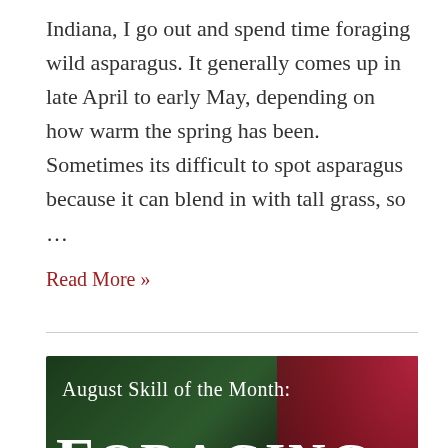Indiana, I go out and spend time foraging wild asparagus. It generally comes up in late April to early May, depending on how warm the spring has been. Sometimes its difficult to spot asparagus because it can blend in with tall grass, so ...
Read More »
[Figure (photo): Banner image with dark green and red background showing text 'August Skill of the Month: FORAGING' in white serif font on a dark background with floral/botanical elements.]